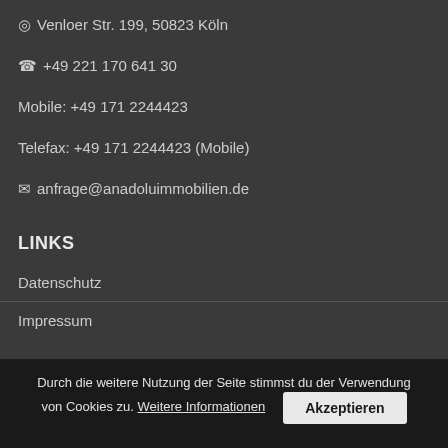Venloer Str. 199, 50823 Köln
+49 221 170 641 30
Mobile: +49 171 2244423
Telefax: +49 171 2244423 (Mobile)
anfrage@anadoluimmobilien.de
LINKS
Datenschutz
Impressum
ÖFFNUNGSZEITEN
Mo-Fr
09:00 - 17:00 Uhr
Durch die weitere Nutzung der Seite stimmst du der Verwendung von Cookies zu. Weitere Informationen  Akzeptieren